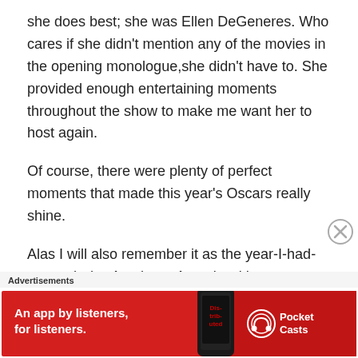she does best; she was Ellen DeGeneres. Who cares if she didn't mention any of the movies in the opening monologue,she didn't have to. She provided enough entertaining moments throughout the show to make me want her to host again.
Of course, there were plenty of perfect moments that made this year's Oscars really shine.
Alas I will also remember it as the year-I-had-to-watch-the-Academy-Awards-with-twenty-plus-females-who-thought-they-know-every-thing-
Advertisements
[Figure (other): Pocket Casts advertisement banner: red background with text 'An app by listeners, for listeners.' and Pocket Casts logo on the right, phone image in center]